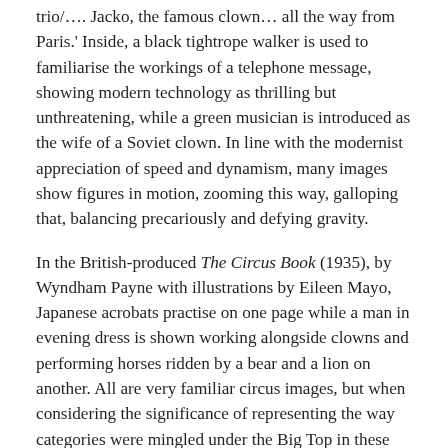trio/…. Jacko, the famous clown… all the way from Paris.' Inside, a black tightrope walker is used to familiarise the workings of a telephone message, showing modern technology as thrilling but unthreatening, while a green musician is introduced as the wife of a Soviet clown. In line with the modernist appreciation of speed and dynamism, many images show figures in motion, zooming this way, galloping that, balancing precariously and defying gravity.
In the British-produced The Circus Book (1935), by Wyndham Payne with illustrations by Eileen Mayo, Japanese acrobats practise on one page while a man in evening dress is shown working alongside clowns and performing horses ridden by a bear and a lion on another. All are very familiar circus images, but when considering the significance of representing the way categories were mingled under the Big Top in these books, it is important not to forget the extent to which in interwar Europe, racial and national origins, sexuality, and physical development could determine a person's fate. From policies in Nazi Germany to fascist demonstrations in London, Jesuit, Romani's group…